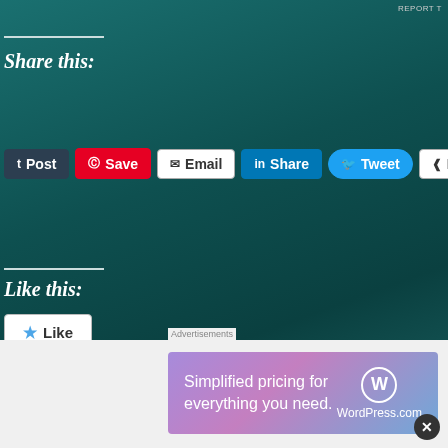REPORT T
Share this:
[Figure (screenshot): Social share buttons: Post (Tumblr), Save (Pinterest), Email, Share (LinkedIn), Tweet (Twitter), More]
Like this:
[Figure (screenshot): Like button widget]
Be the first to like this.
Tags: Damian Lewis, Ed Skrein, Eddie Marsan, Fast & Furio Presents: Hobbs & Shaw, Helen Mirren, Hobb & Shaw traile Ian McKellen, Idris Elba, Jason Statham, Jason Statham movies, Katherine Gun, Katherine Kelly, Keira Knightley, Keira Knightley movies, Keira Knightley Oscar, Luke Evans Margot Robbie, Matt Smith, Midway movie, Midway movie 2019, Official Secrets, Official Secrets movie trailer, Onc
[Figure (screenshot): WordPress.com advertisement: Simplified pricing for everything you need.]